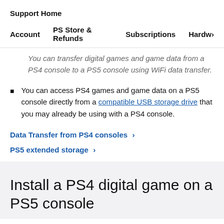Support Home
Account   PS Store & Refunds   Subscriptions   Hardw›
You can transfer digital games and game data from a PS4 console to a PS5 console using WiFi data transfer.
You can access PS4 games and game data on a PS5 console directly from a compatible USB storage drive that you may already be using with a PS4 console.
Data Transfer from PS4 consoles ›
PS5 extended storage ›
Install a PS4 digital game on a PS5 console